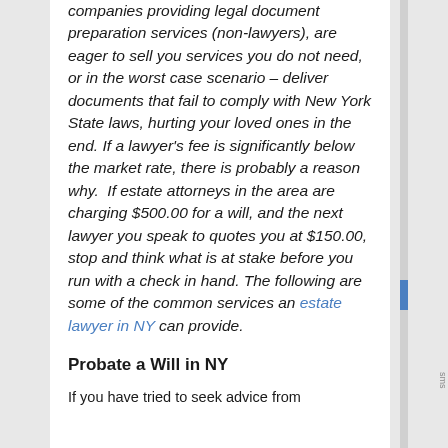companies providing legal document preparation services (non-lawyers), are eager to sell you services you do not need, or in the worst case scenario – deliver documents that fail to comply with New York State laws, hurting your loved ones in the end. If a lawyer's fee is significantly below the market rate, there is probably a reason why.  If estate attorneys in the area are charging $500.00 for a will, and the next lawyer you speak to quotes you at $150.00, stop and think what is at stake before you run with a check in hand. The following are some of the common services an estate lawyer in NY can provide.
Probate a Will in NY
If you have tried to seek advice from